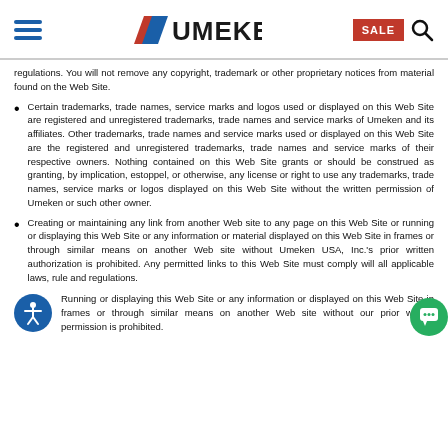UMEKEN - SALE
regulations. You will not remove any copyright, trademark or other proprietary notices from material found on the Web Site.
Certain trademarks, trade names, service marks and logos used or displayed on this Web Site are registered and unregistered trademarks, trade names and service marks of Umeken and its affiliates. Other trademarks, trade names and service marks used or displayed on this Web Site are the registered and unregistered trademarks, trade names and service marks of their respective owners. Nothing contained on this Web Site grants or should be construed as granting, by implication, estoppel, or otherwise, any license or right to use any trademarks, trade names, service marks or logos displayed on this Web Site without the written permission of Umeken or such other owner.
Creating or maintaining any link from another Web site to any page on this Web Site or running or displaying this Web Site or any information or material displayed on this Web Site in frames or through similar means on another Web site without Umeken USA, Inc.'s prior written authorization is prohibited. Any permitted links to this Web Site must comply will all applicable laws, rule and regulations.
Running or displaying this Web Site or any information or displayed on this Web Site in frames or through similar means on another Web site without our prior written permission is prohibited.